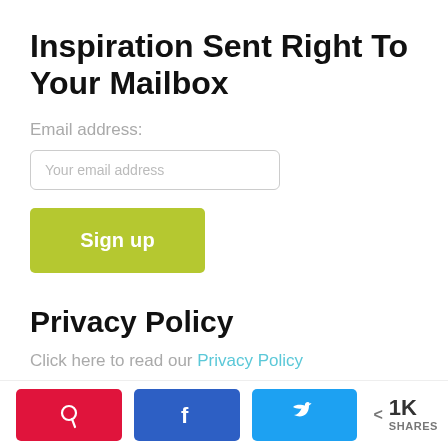Inspiration Sent Right To Your Mailbox
Email address:
[Figure (other): Email address input field with placeholder text 'Your email address']
[Figure (other): Green 'Sign up' button]
Privacy Policy
Click here to read our Privacy Policy
Pinterest share button, Facebook share button, Twitter share button, < 1K SHARES